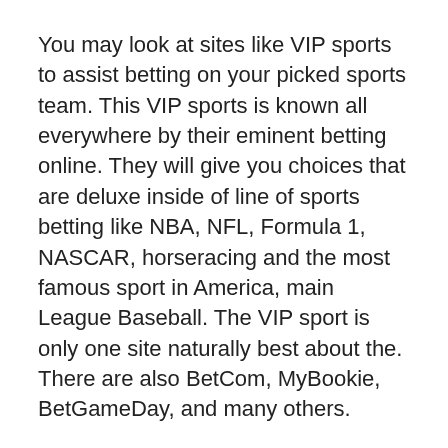You may look at sites like VIP sports to assist betting on your picked sports team. This VIP sports is known all everywhere by their eminent betting online. They will give you choices that are deluxe inside of line of sports betting like NBA, NFL, Formula 1, NASCAR, horseracing and the most famous sport in America, main League Baseball. The VIP sport is only one site naturally best about the. There are also BetCom, MyBookie, BetGameDay, and many others.
Most gamblers fail to understand that really method of achieving appropriate and sustained long term profit from racing in order to use set aside a amount of money abandoning your main finances, solely for the betting of horses. Whatever method or system are usually using, whoever you